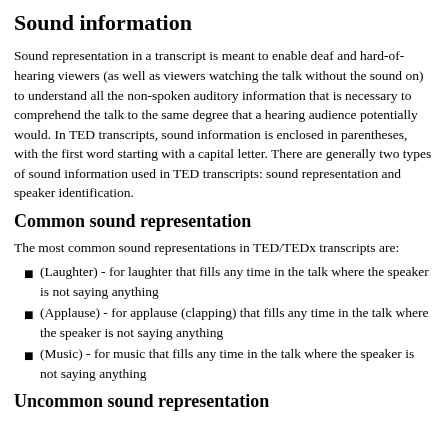Sound information
Sound representation in a transcript is meant to enable deaf and hard-of-hearing viewers (as well as viewers watching the talk without the sound on) to understand all the non-spoken auditory information that is necessary to comprehend the talk to the same degree that a hearing audience potentially would. In TED transcripts, sound information is enclosed in parentheses, with the first word starting with a capital letter. There are generally two types of sound information used in TED transcripts: sound representation and speaker identification.
Common sound representation
The most common sound representations in TED/TEDx transcripts are:
(Laughter) - for laughter that fills any time in the talk where the speaker is not saying anything
(Applause) - for applause (clapping) that fills any time in the talk where the speaker is not saying anything
(Music) - for music that fills any time in the talk where the speaker is not saying anything
Uncommon sound representation